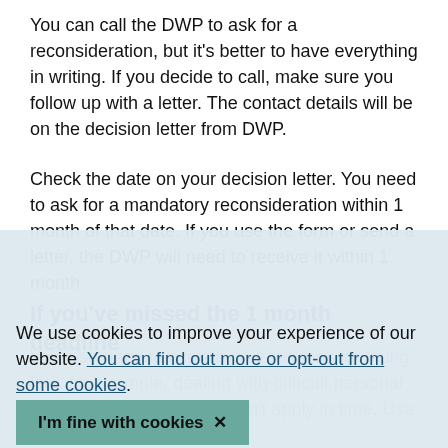You can call the DWP to ask for a reconsideration, but it's better to have everything in writing. If you decide to call, make sure you follow up with a letter. The contact details will be on the decision letter from DWP.
Check the date on your decision letter. You need to ask for a mandatory reconsideration within 1 month of that date. If you use the form or send a letter, the DWP will need to receive it within 1 month.
If you've missed the 1 month deadline
We use cookies to improve your experience of our website. You can find out more or opt-out from some cookies.